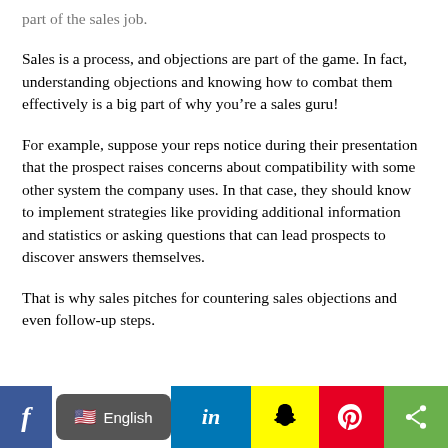part of the sales job.
Sales is a process, and objections are part of the game. In fact, understanding objections and knowing how to combat them effectively is a big part of why you’re a sales guru!
For example, suppose your reps notice during their presentation that the prospect raises concerns about compatibility with some other system the company uses. In that case, they should know to implement strategies like providing additional information and statistics or asking questions that can lead prospects to discover answers themselves.
That is why sales pitches for countering sales objections and even follow-up steps.
[Figure (infographic): Social media sharing bar with Facebook, English language selector, LinkedIn, Snapchat, Pinterest, and share buttons]